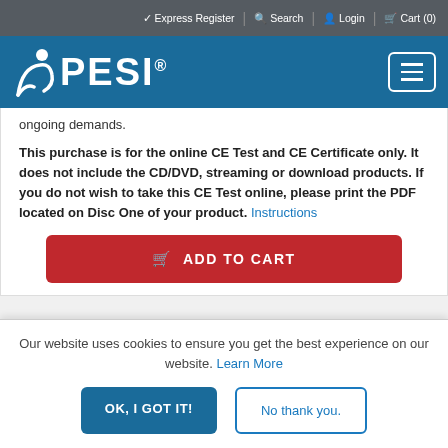✓ Express Register  🔍 Search  👤 Login  🛒 Cart (0)
[Figure (logo): PESI logo with person icon and registered trademark, white text on blue header bar with hamburger menu button]
ongoing demands.
This purchase is for the online CE Test and CE Certificate only. It does not include the CD/DVD, streaming or download products. If you do not wish to take this CE Test online, please print the PDF located on Disc One of your product. Instructions
ADD TO CART
Our website uses cookies to ensure you get the best experience on our website. Learn More
OK, I GOT IT!
No thank you.